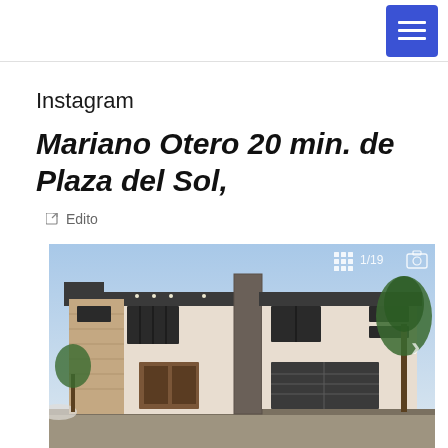Instagram
Mariano Otero 20 min. de Plaza del Sol,
Edito
[Figure (photo): Modern two-story house exterior render, showing a contemporary residential property with stone cladding accents, dark window frames, and garage. Overlay shows 1/19 image count indicator.]